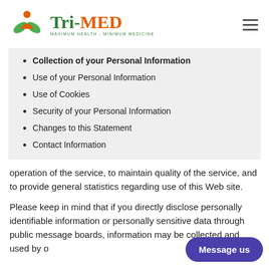Tri-MED MAXIMUM HEALTH - MINIMUM MEDICINE
Collection of your Personal Information
Use of your Personal Information
Use of Cookies
Security of your Personal Information
Changes to this Statement
Contact Information
operation of the service, to maintain quality of the service, and to provide general statistics regarding use of this Web site.
Please keep in mind that if you directly disclose personally identifiable information or personally sensitive data through public message boards, information may be collected and used by others.